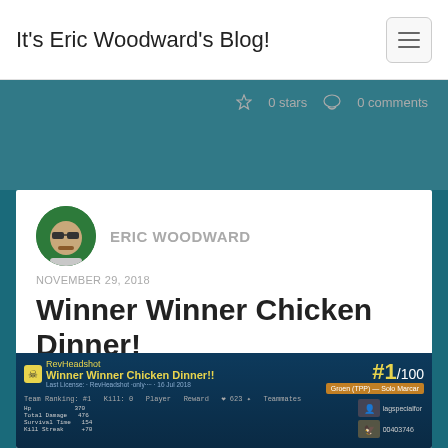It's Eric Woodward's Blog!
0 stars   0 comments
[Figure (photo): Author avatar icon showing a stylized character with sunglasses]
ERIC WOODWARD
NOVEMBER 29, 2018
Winner Winner Chicken Dinner!
[Figure (screenshot): Game screenshot showing RevHeadshot Winner Winner Chicken Dinner!! result screen with #1/100 rank displayed in yellow]